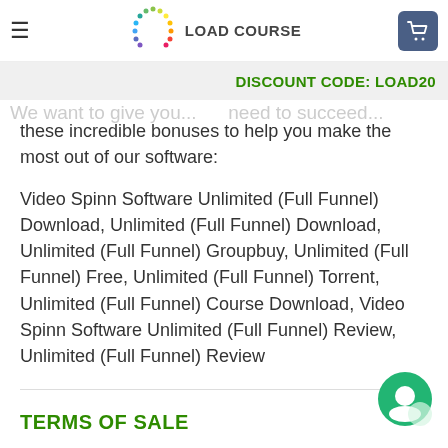These Bonuses W... ad Spinning!
[Figure (logo): Load Course logo with colorful dots arranged in a circle around the text LOAD COURSE]
DISCOUNT CODE: LOAD20
these incredible bonuses to help you make the most out of our software:
Video Spinn Software Unlimited (Full Funnel) Download, Unlimited (Full Funnel) Download, Unlimited (Full Funnel) Groupbuy, Unlimited (Full Funnel) Free, Unlimited (Full Funnel) Torrent, Unlimited (Full Funnel) Course Download, Video Spinn Software Unlimited (Full Funnel) Review, Unlimited (Full Funnel) Review
TERMS OF SALE